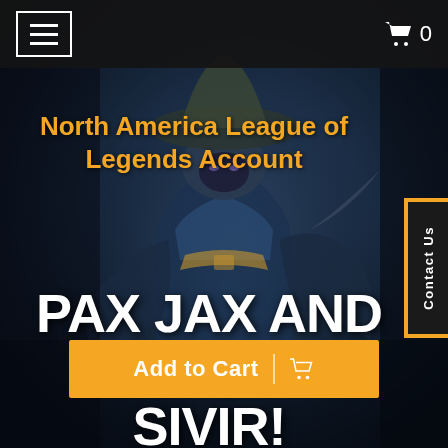Navigation bar with hamburger menu and cart icon showing 0 items
[Figure (illustration): Dark fantasy game character (League of Legends champion Jax wearing yellow/green armor and a mushroom hat) shown against a dark moody background]
North America League of Legends Account
Contact Us
PAX JAX AND PAX SIVIR!
Add to Cart